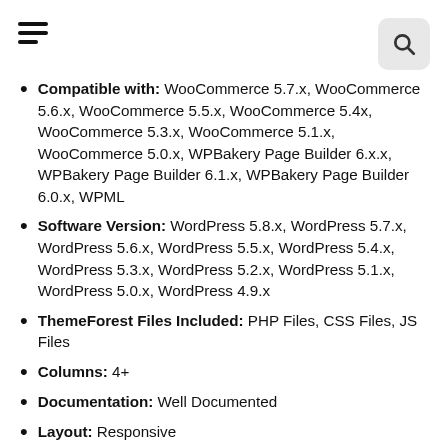[hamburger menu icon] [search icon]
Compatible with: WooCommerce 5.7.x, WooCommerce 5.6.x, WooCommerce 5.5.x, WooCommerce 5.4x, WooCommerce 5.3.x, WooCommerce 5.1.x, WooCommerce 5.0.x, WPBakery Page Builder 6.x.x, WPBakery Page Builder 6.1.x, WPBakery Page Builder 6.0.x, WPML
Software Version: WordPress 5.8.x, WordPress 5.7.x, WordPress 5.6.x, WordPress 5.5.x, WordPress 5.4.x, WordPress 5.3.x, WordPress 5.2.x, WordPress 5.1.x, WordPress 5.0.x, WordPress 4.9.x
ThemeForest Files Included: PHP Files, CSS Files, JS Files
Columns: 4+
Documentation: Well Documented
Layout: Responsive